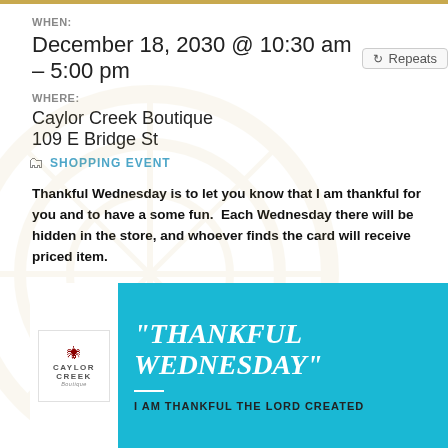WHEN:
December 18, 2030 @ 10:30 am – 5:00 pm  Repeats
WHERE:
Caylor Creek Boutique
109 E Bridge St
SHOPPING EVENT
Thankful Wednesday is to let you know that I am thankful for you and to have a some fun.  Each Wednesday there will be hidden in the store, and whoever finds the card will receive priced item.
[Figure (infographic): Teal/cyan promotional banner for Thankful Wednesday event at Caylor Creek Boutique. Left side has white logo box with Caylor Creek Boutique logo. Right side has large italic white text reading "THANKFUL WEDNESDAY" with a white divider line and dark text at bottom reading I AM THANKFUL THE LORD CREATED]